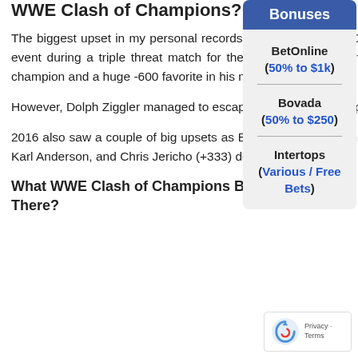WWE Clash of Champions?
The biggest upset in my personal records for WWE Clash of Champions came during the 2017 event during a triple threat match for the United States championship. Baron Corbin was the champion and a huge -600 favorite in his match against Bobby Roode and Dolph Ziggler.
Bonuses
BetOnline (50% to $1k)
Bovada (50% to $250)
Intertops (Various / Free Bets)
However, Dolph Ziggler managed to escape with a victory that paid out at +400.
2016 also saw a couple of big upsets as Big E & Kofi Kingston (+333) defeated Luke Gallows & Karl Anderson, and Chris Jericho (+333) defeated Sami Zayn.
What WWE Clash of Champions Betting Pr... There?